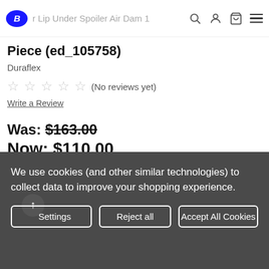R … r Lip Under Spoiler Air Dam 1 Piece (ed_105758)
Piece (ed_105758)
Duraflex
★★★★★ (No reviews yet)
Write a Review
Was: $163.00
Now: $110.00
We use cookies (and other similar technologies) to collect data to improve your shopping experience.
Settings  Reject all  Accept All Cookies